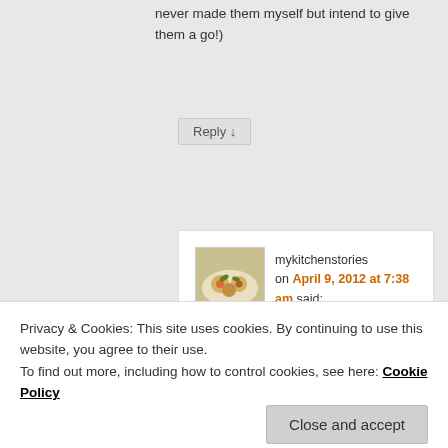never made them myself but intend to give them a go!)
Reply ↓
mykitchenstories on April 9, 2012 at 7:38 am said:
I notice that wordpress does not supply my URL anymore . I dont know how to fix this http://www.mykitchenstories.com.au
Reply ↓
Privacy & Cookies: This site uses cookies. By continuing to use this website, you agree to their use.
To find out more, including how to control cookies, see here: Cookie Policy
Close and accept
mean). Please leave your URL on